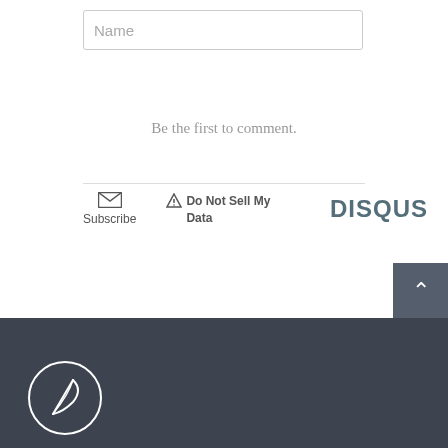[Figure (screenshot): Name input text field with placeholder text 'Name']
Be the first to comment.
[Figure (infographic): Disqus comment section footer with Subscribe (mail icon), Do Not Sell My Data (warning icon), and DISQUS logo]
[Figure (illustration): Dark footer bar with scroll-to-top button (chevron up) and a circular feather/quill logo]